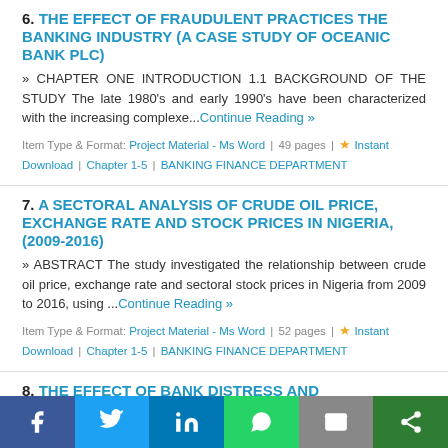6. THE EFFECT OF FRAUDULENT PRACTICES THE BANKING INDUSTRY (A CASE STUDY OF OCEANIC BANK PLC) » CHAPTER ONE INTRODUCTION 1.1 BACKGROUND OF THE STUDY The late 1980's and early 1990's have been characterized with the increasing complexe...Continue Reading » Item Type & Format: Project Material - Ms Word | 49 pages | ★ Instant Download | Chapter 1-5 | BANKING FINANCE DEPARTMENT
7. A SECTORAL ANALYSIS OF CRUDE OIL PRICE, EXCHANGE RATE AND STOCK PRICES IN NIGERIA, (2009-2016) » ABSTRACT The study investigated the relationship between crude oil price, exchange rate and sectoral stock prices in Nigeria from 2009 to 2016, using ...Continue Reading » Item Type & Format: Project Material - Ms Word | 52 pages | ★ Instant Download | Chapter 1-5 | BANKING FINANCE DEPARTMENT
8. THE EFFECT OF BANK DISTRESS AND ECONOMIC GROWTH OF NIGERIA
f  t  in  [whatsapp]  [mail]  [share]